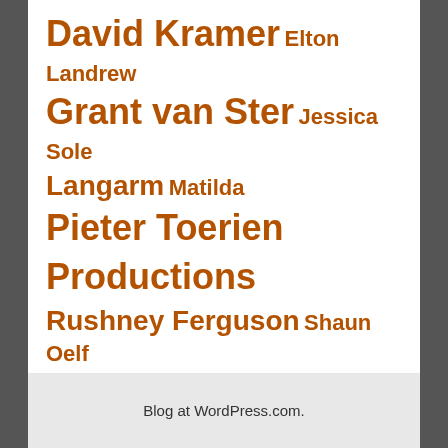David Kramer Elton Landrew Grant van Ster Jessica Sole Langarm Matilda Pieter Toerien Productions Rushney Ferguson Shaun Oelf Taliep Petersen The Alexander Upstairs The Fugard Theatre Titilayo Adedokun West Side Story Widaad Alebrtus
Blog at WordPress.com.